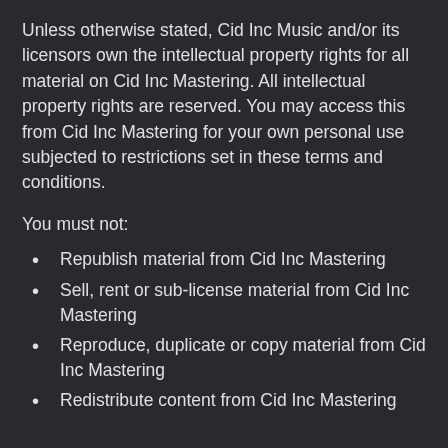Unless otherwise stated, Cid Inc Music and/or its licensors own the intellectual property rights for all material on Cid Inc Mastering. All intellectual property rights are reserved. You may access this from Cid Inc Mastering for your own personal use subjected to restrictions set in these terms and conditions.
You must not:
Republish material from Cid Inc Mastering
Sell, rent or sub-license material from Cid Inc Mastering
Reproduce, duplicate or copy material from Cid Inc Mastering
Redistribute content from Cid Inc Mastering
Hyperlinking to our Content
The following organizations may link to our Website without